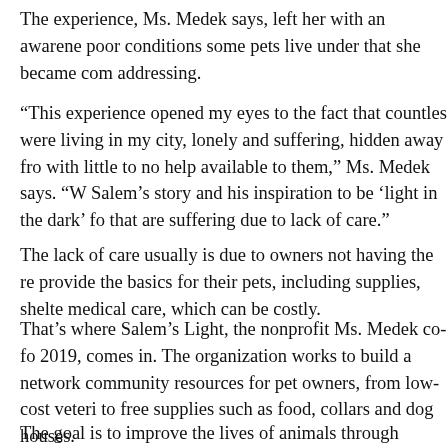The experience, Ms. Medek says, left her with an awareness of the poor conditions some pets live under that she became committed to addressing.
“This experience opened my eyes to the fact that countless animals were living in my city, lonely and suffering, hidden away from society, with little to no help available to them,” Ms. Medek says. “We used Salem’s story and his inspiration to be ‘light in the dark’ for animals that are suffering due to lack of care.”
The lack of care usually is due to owners not having the resources to provide the basics for their pets, including supplies, shelter and medical care, which can be costly.
That’s where Salem’s Light, the nonprofit Ms. Medek co-founded in 2019, comes in. The organization works to build a network of community resources for pet owners, from low-cost veterinary care to free supplies such as food, collars and dog houses.
The goal is to improve the lives of animals through comm…